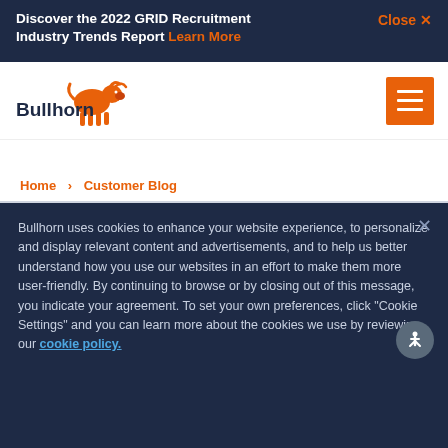Discover the 2022 GRID Recruitment Industry Trends Report Learn More   Close ×
[Figure (logo): Bullhorn logo with orange bull icon and 'Bullhorn' text]
Home > Customer Blog
Bullhorn uses cookies to enhance your website experience, to personalize and display relevant content and advertisements, and to help us better understand how you use our websites in an effort to make them more user-friendly. By continuing to browse or by closing out of this message, you indicate your agreement. To set your own preferences, click "Cookie Settings" and you can learn more about the cookies we use by reviewing our cookie policy.